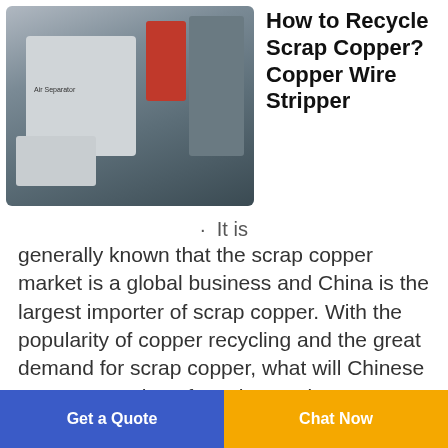[Figure (photo): Industrial copper wire stripping/recycling machine (Air Separator) with control panel and red hopper component]
How to Recycle Scrap Copper? Copper Wire Stripper
· It is generally known that the scrap copper market is a global business and China is the largest importer of scrap copper. With the popularity of copper recycling and the great demand for scrap copper, what will Chinese government do to face the coming copper shortage?. Well, with the rapid development of industrialization and urbanization, Chinese government and companies will increase